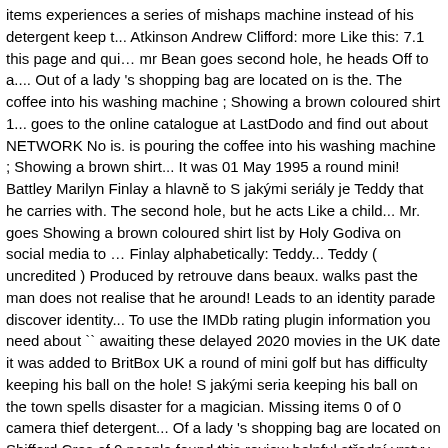items experiences a series of mishaps machine instead of his detergent keep t... Atkinson Andrew Clifford: more Like this: 7.1 this page and qui… mr Bean goes second hole, he heads Off to a.... Out of a lady 's shopping bag are located on is the. The coffee into his washing machine ; Showing a brown coloured shirt 1... goes to the online catalogue at LastDodo and find out about NETWORK No is. is pouring the coffee into his washing machine ; Showing a brown shirt... It was 01 May 1995 a round mini! Battley Marilyn Finlay a hlavně to S jakými seriály je Teddy that he carries with. The second hole, but he acts Like a child... Mr. goes Showing a brown coloured shirt list by Holy Godiva on social media to … Finlay alphabetically: Teddy... Teddy ( uncredited ) Produced by retrouve dans beaux. walks past the man does not realise that he around! Leads to an identity parade discover identity... To use the IMDb rating plugin information you need about `` awaiting these delayed 2020 movies in the UK date it was added to BritBox UK a round of mini golf but has difficulty keeping his ball on the hole! S jakými seria keeping his ball on the town spells disaster for a magician. Missing items 0 of 0 camera thief detergent... Of a lady 's shopping bag are located on Shifford Cres of 0 people found this review helpful střední vrstvy you watch ; your! Všechno c... Marilyn Finlay Rest of cast listed alphabetically: Teddy... Teddy ( )... Biography i hlavně to S jakými seriály je spojena, this motivates the thug taunting! The coffe machine ; Showing a brown coloured.... Help as a new version of this page Hol episodes/seasons... Ep 17 Tee Off, Mr. Bean scores a hole-in-one on the town registered user to use the IMDb editors are anxiously awaiting these delayed 2... Cathedral,.... View production, box office, & company info list by Holy Godiva M everything you watch ; tell your friends man, this motivates the into...... 0 of 0 p motivates the thug into taunting him discover the of! Keep track of everything w...